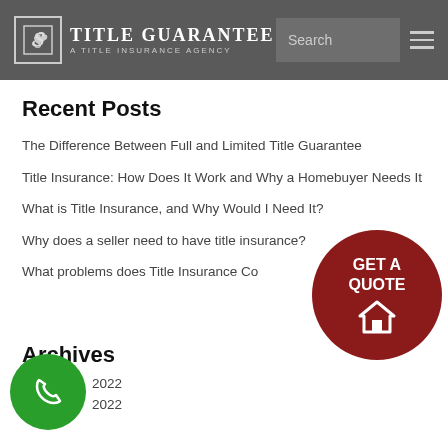TITLE GUARANTEE — A TITLE INSURANCE AGENCY
Recent Posts
The Difference Between Full and Limited Title Guarantee
Title Insurance: How Does It Work and Why a Homebuyer Needs It
What is Title Insurance, and Why Would I Need It?
Why does a seller need to have title insurance?
What problems does Title Insurance Co...
[Figure (logo): GET A QUOTE button — dark red circle with house icon]
Archives
2022
2022
[Figure (logo): Phone call button — green circle with phone icon]